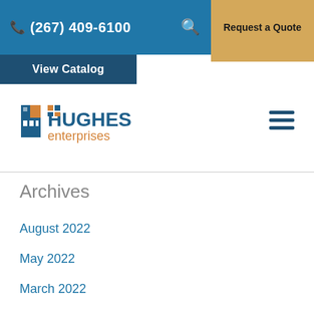(267) 409-6100  Request a Quote  View Catalog
[Figure (logo): Hughes Enterprises logo with building icon in blue and orange]
Archives
August 2022
May 2022
March 2022
February 2022
January 2022
September 2021